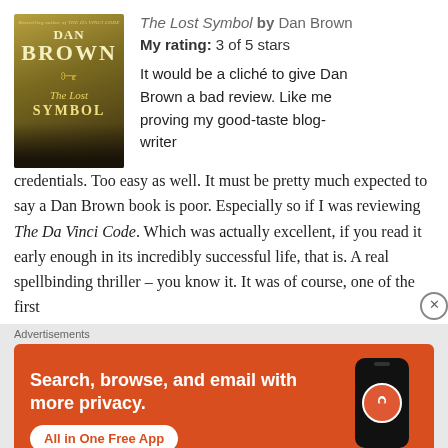[Figure (illustration): Book cover for 'The Lost Symbol' by Dan Brown. Gold/brown tones showing author name prominently. Features a key graphic, stylized 'The Lost Symbol' title text, and a cityscape silhouette at the bottom.]
The Lost Symbol by Dan Brown
My rating: 3 of 5 stars
It would be a cliché to give Dan Brown a bad review. Like me proving my good-taste blog-writer credentials. Too easy as well. It must be pretty much expected to say a Dan Brown book is poor. Especially so if I was reviewing The Da Vinci Code. Which was actually excellent, if you read it early enough in its incredibly successful life, that is. A real spellbinding thriller – you know it. It was of course, one of the first
Advertisements
[Figure (illustration): DuckDuckGo advertisement banner. Orange/red background. Text: 'Search, browse, and email with more privacy. All in One Free App'. Shows a smartphone with DuckDuckGo logo and 'DuckDuckGo.' brand name.]